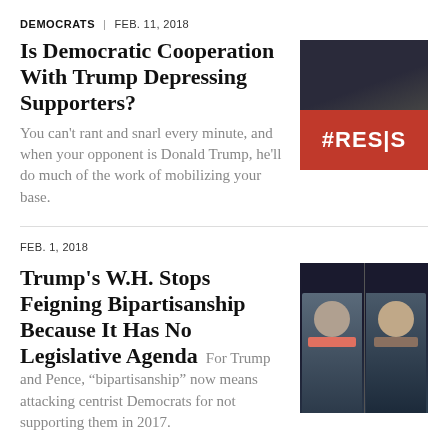DEMOCRATS | FEB. 11, 2018
Is Democratic Cooperation With Trump Depressing Supporters?
You can't rant and snarl every minute, and when your opponent is Donald Trump, he'll do much of the work of mobilizing your base.
[Figure (photo): Crowd of protesters with a red banner reading #RESIST]
FEB. 1, 2018
Trump's W.H. Stops Feigning Bipartisanship Because It Has No Legislative Agenda
For Trump and Pence, “bipartisanship” now means attacking centrist Democrats for not supporting them in 2017.
[Figure (photo): Two men in suits side by side, one with a red tie and one with a striped tie]